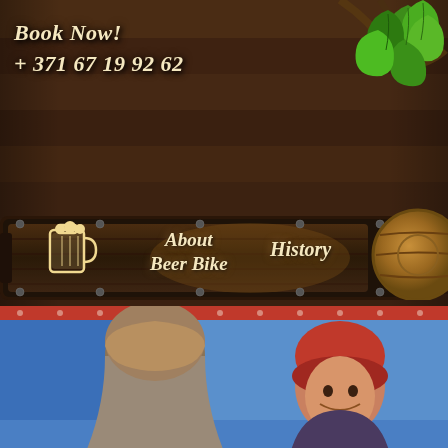[Figure (illustration): Dark wood plank background with beer bike website header. Navigation bar with beer mug icon, 'About Beer Bike' and 'History' menu items on dark wood texture. Green hop leaves top right. Barrel icon on right side. Bottom half shows photo of people on a beer bike with colorful surroundings.]
Book Now!
+ 371 67 19 92 62
About Beer Bike
History
Drink and drive